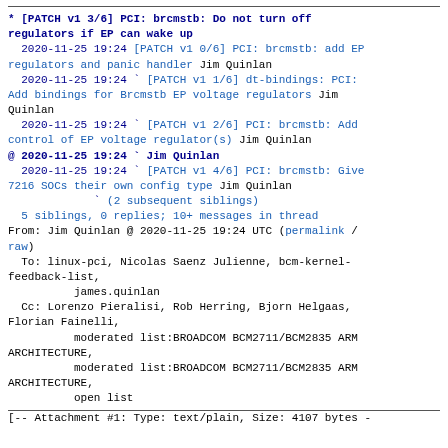* [PATCH v1 3/6] PCI: brcmstb: Do not turn off regulators if EP can wake up
  2020-11-25 19:24 [PATCH v1 0/6] PCI: brcmstb: add EP regulators and panic handler Jim Quinlan
  2020-11-25 19:24 ` [PATCH v1 1/6] dt-bindings: PCI: Add bindings for Brcmstb EP voltage regulators Jim Quinlan
  2020-11-25 19:24 ` [PATCH v1 2/6] PCI: brcmstb: Add control of EP voltage regulator(s) Jim Quinlan
@ 2020-11-25 19:24 ` Jim Quinlan
  2020-11-25 19:24 ` [PATCH v1 4/6] PCI: brcmstb: Give 7216 SOCs their own config type Jim Quinlan
             ` (2 subsequent siblings)
  5 siblings, 0 replies; 10+ messages in thread
From: Jim Quinlan @ 2020-11-25 19:24 UTC (permalink / raw)
  To: linux-pci, Nicolas Saenz Julienne, bcm-kernel-feedback-list,
          james.quinlan
  Cc: Lorenzo Pieralisi, Rob Herring, Bjorn Helgaas, Florian Fainelli,
          moderated list:BROADCOM BCM2711/BCM2835 ARM ARCHITECTURE,
          moderated list:BROADCOM BCM2711/BCM2835 ARM ARCHITECTURE,
          open list
[-- Attachment #1: Type: text/plain, Size: 4107 bytes -